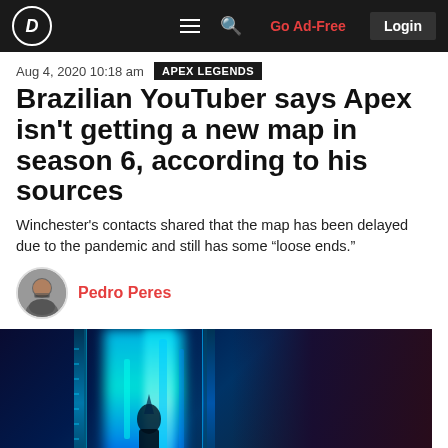D | ≡  🔍  Go Ad-Free  Login
Aug 4, 2020 10:18 am   APEX LEGENDS
Brazilian YouTuber says Apex isn't getting a new map in season 6, according to his sources
Winchester's contacts shared that the map has been delayed due to the pandemic and still has some "loose ends."
Pedro Peres
[Figure (photo): Dark sci-fi/game art image with glowing blue neon light pillars against a dark background, likely Apex Legends themed artwork]